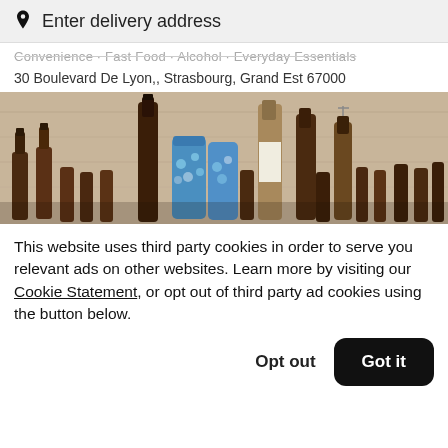Enter delivery address
Convenience · Fast Food · Alcohol · Everyday Essentials
30 Boulevard De Lyon,, Strasbourg, Grand Est 67000
[Figure (photo): Photo of various beer bottles and cans arranged on a wooden surface, including brown glass bottles and blue patterned cans.]
This website uses third party cookies in order to serve you relevant ads on other websites. Learn more by visiting our Cookie Statement, or opt out of third party ad cookies using the button below.
Opt out
Got it